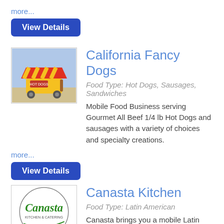more...
View Details
[Figure (photo): Hot dog cart with red and yellow striped awning]
California Fancy Dogs
Food Type: Hot Dogs, Sausages, Sandwiches
Mobile Food Business serving Gourmet All Beef 1/4 lb Hot Dogs and sausages with a variety of choices and specialty creations.
more...
View Details
[Figure (logo): Canasta Kitchen cursive logo in green]
Canasta Kitchen
Food Type: Latin American
Canasta brings you a mobile Latin cuisine culinary experience. We make our